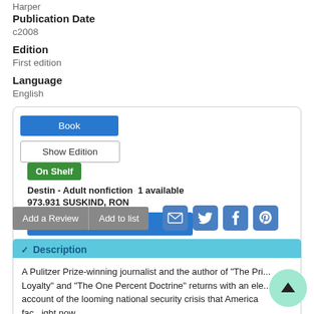Harper
Publication Date
c2008
Edition
First edition
Language
English
Book | Show Edition | On Shelf | Destin - Adult nonfiction 1 available | 973.931 SUSKIND, RON | Place Hold
Add a Review | Add to list
Description
A Pulitzer Prize-winning journalist and the author of "The Pri... Loyalty" and "The One Percent Doctrine" returns with an ele... account of the looming national security crisis that America fac... now.